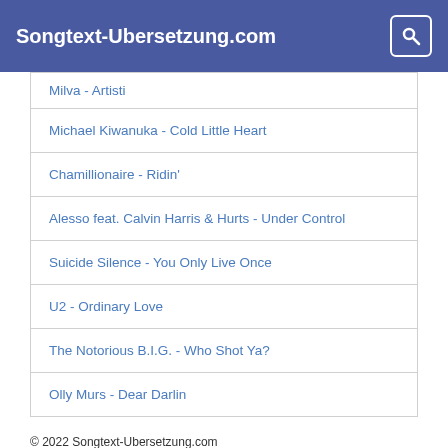Songtext-Ubersetzung.com
Milva - Artisti
Michael Kiwanuka - Cold Little Heart
Chamillionaire - Ridin'
Alesso feat. Calvin Harris & Hurts - Under Control
Suicide Silence - You Only Live Once
U2 - Ordinary Love
The Notorious B.I.G. - Who Shot Ya?
Olly Murs - Dear Darlin
© 2022 Songtext-Ubersetzung.com
Liste